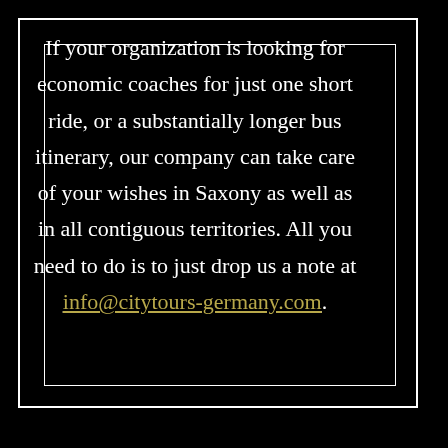If your organization is looking for economic coaches for just one short ride, or a substantially longer bus itinerary, our company can take care of your wishes in Saxony as well as in all contiguous territories. All you need to do is to just drop us a note at info@citytours-germany.com.